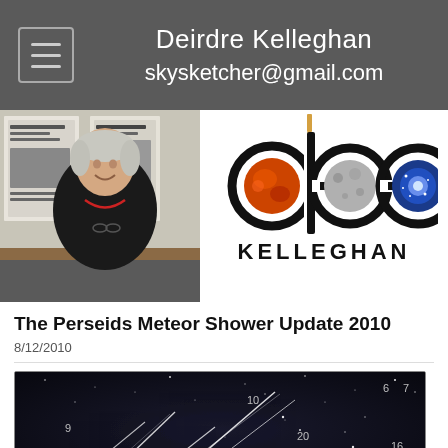Deirdre Kelleghan
skysketcher@gmail.com
[Figure (photo): Photo of Deirdre Kelleghan standing in front of posters/artwork on wall]
[Figure (logo): Dee Kelleghan logo with stylized letters d-e-e incorporating planetary/celestial imagery and text KELLEGHAN below]
The Perseids Meteor Shower Update 2010
8/12/2010
[Figure (photo): Dark sky image showing meteor shower streaks with numbered meteors: 6, 7, 9, 10, 11, 14, 15, 16, 19, 20]